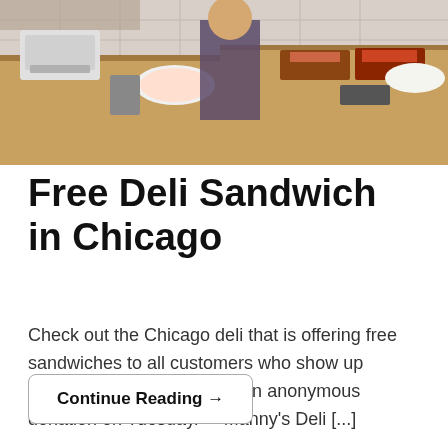[Figure (photo): A deli counter scene showing food preparation area with countertops, trays of food, kitchen equipment including a scale, and a person working behind the counter.]
Free Deli Sandwich in Chicago
Check out the Chicago deli that is offering free sandwiches to all customers who show up wearing a mask, fueled by an anonymous donation on Tuesday.    Manny's Deli [...]
Continue Reading →